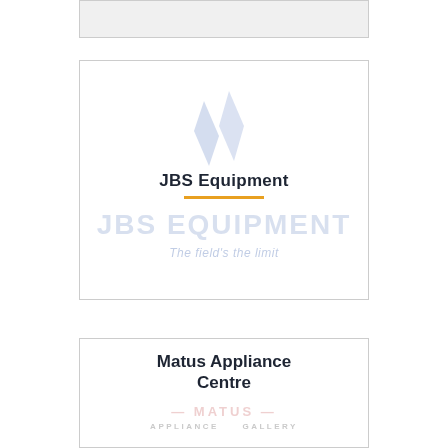[Figure (logo): Partial grey box at top of page, appears to be a cropped card]
[Figure (logo): JBS Equipment logo card with angular blue watermark icon, bold text 'JBS Equipment', orange divider line, large light-blue watermark text 'JBS EQUIPMENT', and italic tagline 'The field's the limit']
[Figure (logo): Matus Appliance Centre logo card with bold text 'Matus Appliance Centre' and pink/grey watermark text 'MATUS APPLIANCE GALLERY']